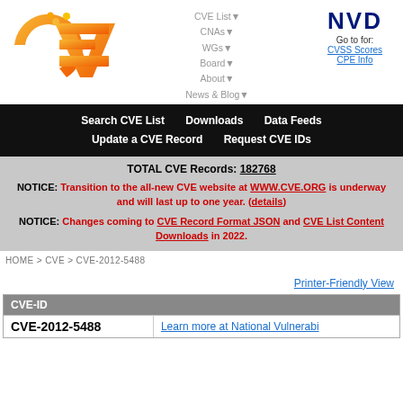[Figure (logo): CVE orange gradient logo]
[Figure (logo): NVD logo with Go to for: CVSS Scores, CPE Info links]
Search CVE List   Downloads   Data Feeds   Update a CVE Record   Request CVE IDs
TOTAL CVE Records: 182768
NOTICE: Transition to the all-new CVE website at WWW.CVE.ORG is underway and will last up to one year. (details)
NOTICE: Changes coming to CVE Record Format JSON and CVE List Content Downloads in 2022.
HOME > CVE > CVE-2012-5488
Printer-Friendly View
| CVE-ID |  |
| --- | --- |
| CVE-2012-5488 | Learn more at National Vulnerabi... |